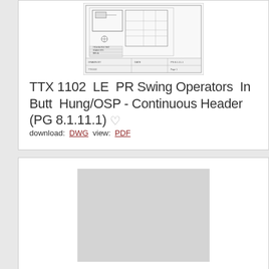[Figure (engineering-diagram): Technical drawing thumbnail showing a door operator mechanical layout with component details and title block, rendered in black and white line drawing style.]
TTX 1102  LE  PR Swing Operators  In Butt  Hung/OSP - Continuous Header (PG 8.1.11.1)
download:  DWG  view:  PDF
[Figure (engineering-diagram): Second engineering diagram thumbnail shown as a light grey placeholder rectangle indicating a drawing is loading or not yet rendered.]